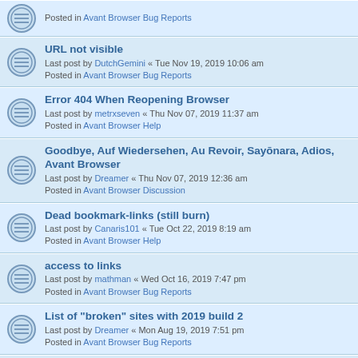Posted in Avant Browser Bug Reports
URL not visible
Last post by DutchGemini « Tue Nov 19, 2019 10:06 am
Posted in Avant Browser Bug Reports
Error 404 When Reopening Browser
Last post by metrxseven « Thu Nov 07, 2019 11:37 am
Posted in Avant Browser Help
Goodbye, Auf Wiedersehen, Au Revoir, Sayōnara, Adios, Avant Browser
Last post by Dreamer « Thu Nov 07, 2019 12:36 am
Posted in Avant Browser Discussion
Dead bookmark-links (still burn)
Last post by Canaris101 « Tue Oct 22, 2019 8:19 am
Posted in Avant Browser Help
access to links
Last post by mathman « Wed Oct 16, 2019 7:47 pm
Posted in Avant Browser Bug Reports
List of "broken" sites with 2019 build 2
Last post by Dreamer « Mon Aug 19, 2019 7:51 pm
Posted in Avant Browser Bug Reports
Firefox engine multiple gecko.exe´s
Last post by Crazy_John « Thu Jul 11, 2019 2:53 pm
Posted in Avant Browser Requests
Critical bug in Firefox (and Avant Browser)
Last post by Dreamer « Wed Jun 19, 2019 6:05 pm
Posted in Avant Browser Bug Reports
Delete
Last post by Dreamer « Wed Jun 19, 2019 5:59 pm
Posted in Avant Browser Discussion
Monoprice.com Will Not Display In Chrome